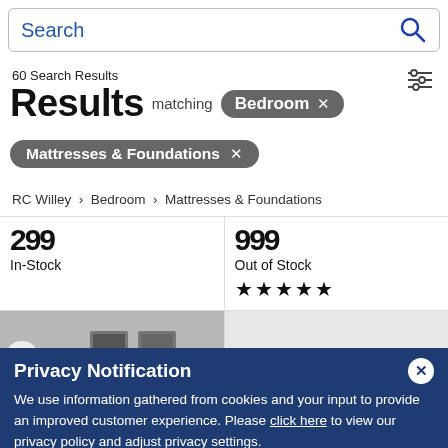[Figure (screenshot): Search bar with magnifying glass icon]
60 Search Results
Results matching Bedroom × Mattresses & Foundations ×
RC Willey > Bedroom > Mattresses & Foundations
In-Stock
Out of Stock ★★★★★
[Figure (photo): Room scene with lamp and framed art on wall]
[Figure (photo): Box spring product image]
Privacy Notification - We use information gathered from cookies and your input to provide an improved customer experience. Please click here to view our privacy policy and adjust privacy settings.
MotoSleep XSF200
Serta Low Profile Box Spring -